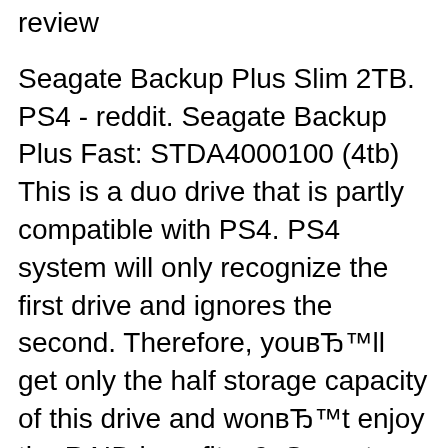review
Seagate Backup Plus Slim 2TB. PS4 - reddit. Seagate Backup Plus Fast: STDA4000100 (4tb) This is a duo drive that is partly compatible with PS4. PS4 system will only recognize the first drive and ignores the second. Therefore, youвЂ™ll get only the half storage capacity of this drive and wonвЂ™t enjoy the RAID benefits. 2. Seagate Backup Plus Hub, Is the Seagate Backup Plus Slim 2TB external hard drives still one of the best hard drives to get for the PS4? Specifically, This one ? I'm looking to replace my 500 GB and I'm not sure if this is still the best option for the PS4..